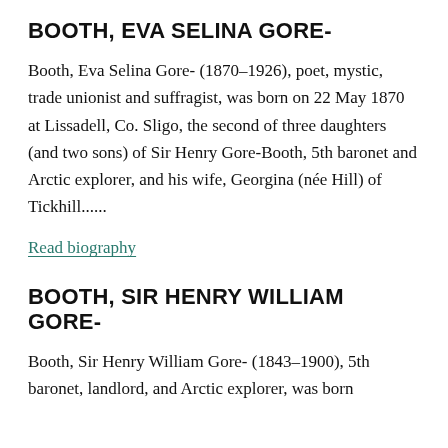BOOTH, EVA SELINA GORE-
Booth, Eva Selina Gore- (1870–1926), poet, mystic, trade unionist and suffragist, was born on 22 May 1870 at Lissadell, Co. Sligo, the second of three daughters (and two sons) of Sir Henry Gore-Booth, 5th baronet and Arctic explorer, and his wife, Georgina (née Hill) of Tickhill......
Read biography
BOOTH, SIR HENRY WILLIAM GORE-
Booth, Sir Henry William Gore- (1843–1900), 5th baronet, landlord, and Arctic explorer, was born